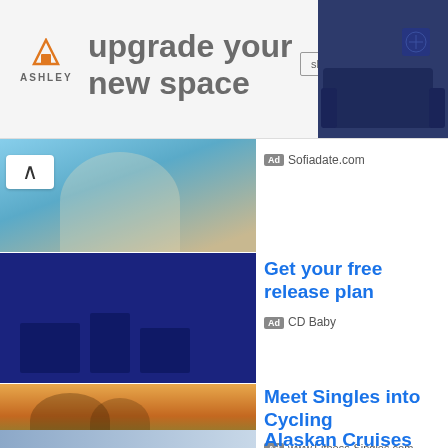[Figure (photo): Ashley Furniture banner ad showing 'upgrade your new space' with shop now button and blue sofa image]
[Figure (photo): Woman on a boat smiling, Sofiadate.com ad]
Ad Sofiadate.com
[Figure (photo): Dark blue toned image of musicians with instruments, CD Baby ad]
Get your free release plan
Ad CD Baby
[Figure (photo): Couple with cycling helmets embracing near bicycles at sunset, Fitness-Singles.com ad]
Meet Singles into Cycling
Ad www.Fitness-Singles.com
[Figure (photo): Partial image of Alaskan scenery, cropped at bottom]
Alaskan Cruises for